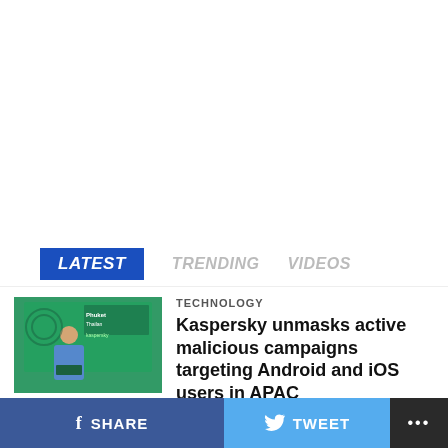[Figure (other): White blank space at top of page]
LATEST   TRENDING   VIDEOS
[Figure (photo): Photo of a man speaking at a Kaspersky event in Phuket, Thailand]
TECHNOLOGY
Kaspersky unmasks active malicious campaigns targeting Android and iOS users in APAC
[Figure (photo): Photo of National Telecommunications Commission signage]
NEWS
Prepare for ‘Gardo, Hinnamnor’, NTC orders
SHARE   TWEET   ...